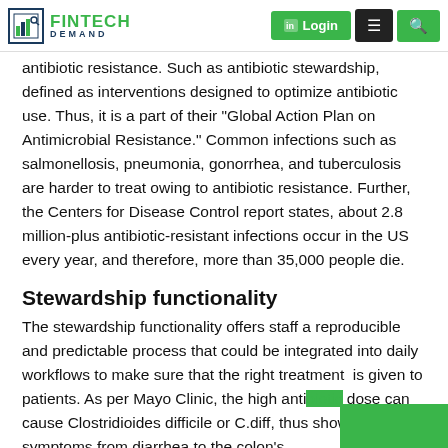FINTECH DEMAND | Login | Menu | Search
antibiotic resistance. Such as antibiotic stewardship, defined as interventions designed to optimize antibiotic use. Thus, it is a part of their “Global Action Plan on Antimicrobial Resistance.” Common infections such as salmonellosis, pneumonia, gonorrhea, and tuberculosis are harder to treat owing to antibiotic resistance. Further, the Centers for Disease Control report states, about 2.8 million-plus antibiotic-resistant infections occur in the US every year, and therefore, more than 35,000 people die.
Stewardship functionality
The stewardship functionality offers staff a reproducible and predictable process that could be integrated into daily workflows to make sure that the right treatment is given to patients. As per Mayo Clinic, the high antibiotic dose can cause Clostridioides difficile or C.diff, thus showing symptoms from diarrhea to the colon’s